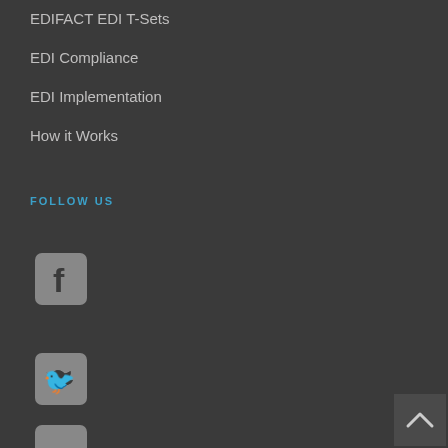EDIFACT EDI T-Sets
EDI Compliance
EDI Implementation
How it Works
FOLLOW US
[Figure (logo): Facebook social media icon - rounded square with white 'f' letter on grey background]
[Figure (logo): Twitter social media icon - rounded square with white bird on grey background]
[Figure (logo): YouTube social media icon - partially visible rounded square on grey background]
[Figure (other): Scroll to top button - dark square with white upward chevron arrow]